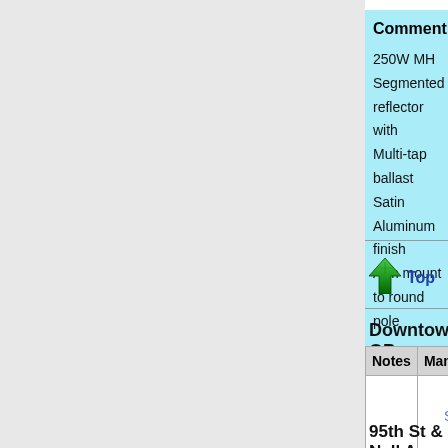Comment: 250W MH
Segmented reflector with
Multi-tap ballast
Satin Aluminum finish
Arm mount to round pole
Top
Downtown OP
| Notes | Manufacturer |  |
| --- | --- | --- |
|  | Sentry | SGO-150h
IES Fi... |
95th St & Nall Ave: